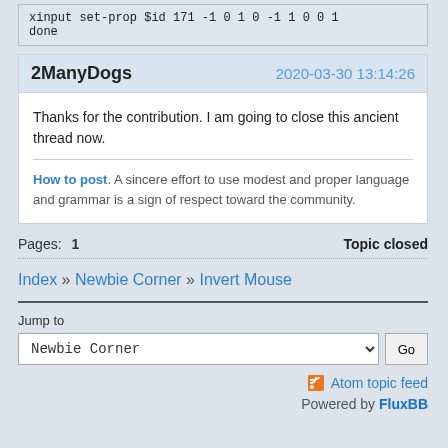xinput set-prop $id 171 -1 0 1 0 -1 1 0 0 1
done
2ManyDogs   2020-03-30 13:14:26
Thanks for the contribution. I am going to close this ancient thread now.
How to post. A sincere effort to use modest and proper language and grammar is a sign of respect toward the community.
Pages: 1   Topic closed
Index » Newbie Corner » Invert Mouse
Jump to
Newbie Corner  Go
Atom topic feed
Powered by FluxBB